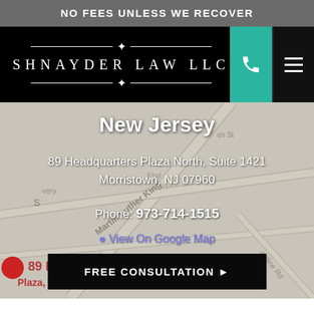NO FEES UNLESS WE RECOVER
[Figure (logo): Shnayder Law LLC logo with horizontal rules and decorative diamond/cross ornaments on black background, with teal phone button and dark menu button]
New Jersey
89 Headquarters Plaza North, Suite 1421
Morristown, NJ 07960
Phone: 973-714-1515
View On Google Map
FREE CONSULTATION ▶